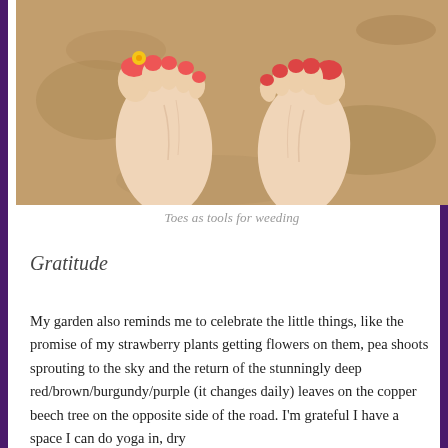[Figure (photo): Overhead view of two bare human feet with red-painted toenails resting on sandy/gravelly ground, with a small yellow flower near one of the big toes]
Toes as tools for weeding
Gratitude
My garden also reminds me to celebrate the little things, like the promise of my strawberry plants getting flowers on them, pea shoots sprouting to the sky and the return of the stunningly deep red/brown/burgundy/purple (it changes daily) leaves on the copper beech tree on the opposite side of the road. I'm grateful I have a space I can do yoga in, dry